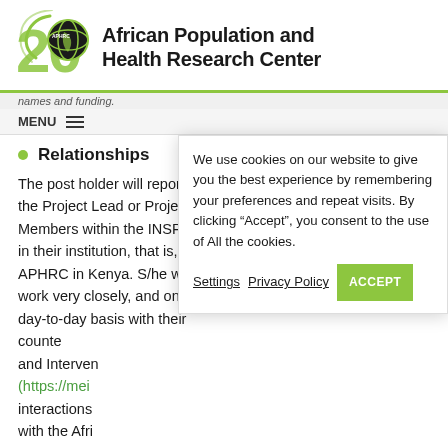[Figure (logo): African Population and Health Research Center logo with '20' anniversary mark in green and circular APHRC globe icon]
African Population and Health Research Center
names and funding.
MENU
Relationships
The post holder will report to the Project Lead or Project Members within the INSPIRE in their institution, that is, the APHRC in Kenya. S/he will work very closely, and on a day-to-day basis with their counte and Interven (https://mei interactions with the Afri (ANDLA), th based HIV/A based at the Medicine (LS African Popu... (SABRIN) in South Africa, and Committee...
We use cookies on our website to give you the best experience by remembering your preferences and repeat visits. By clicking "Accept", you consent to the use of All the cookies.
Settings  Privacy Policy  ACCEPT